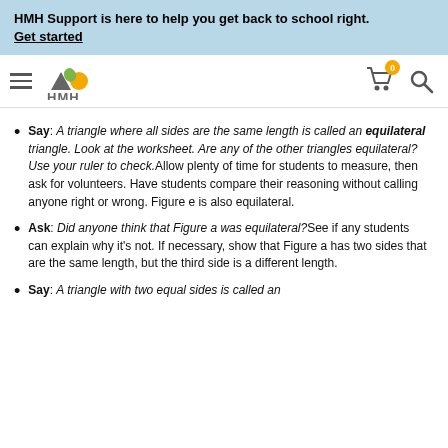HMH Support is here to help you get back to school right. Get started
[Figure (logo): HMH logo with hamburger menu, cart icon with badge showing 0, and search icon]
Say: A triangle where all sides are the same length is called an equilateral triangle. Look at the worksheet. Are any of the other triangles equilateral? Use your ruler to check.Allow plenty of time for students to measure, then ask for volunteers. Have students compare their reasoning without calling anyone right or wrong. Figure e is also equilateral.
Ask: Did anyone think that Figure a was equilateral?See if any students can explain why it's not. If necessary, show that Figure a has two sides that are the same length, but the third side is a different length.
Say: A triangle with two equal sides is called an